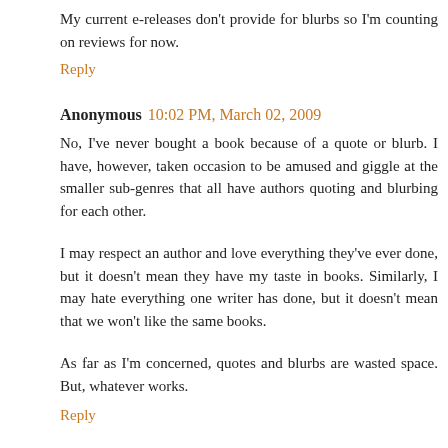My current e-releases don't provide for blurbs so I'm counting on reviews for now.
Reply
Anonymous  10:02 PM, March 02, 2009
No, I've never bought a book because of a quote or blurb. I have, however, taken occasion to be amused and giggle at the smaller sub-genres that all have authors quoting and blurbing for each other.
I may respect an author and love everything they've ever done, but it doesn't mean they have my taste in books. Similarly, I may hate everything one writer has done, but it doesn't mean that we won't like the same books.
As far as I'm concerned, quotes and blurbs are wasted space. But, whatever works.
Reply